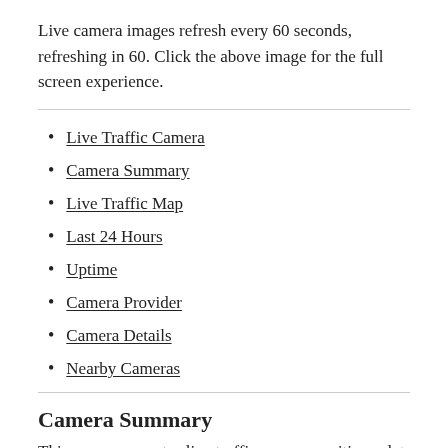Live camera images refresh every 60 seconds, refreshing in 60. Click the above image for the full screen experience.
Live Traffic Camera
Camera Summary
Live Traffic Map
Last 24 Hours
Uptime
Camera Provider
Camera Details
Nearby Cameras
Camera Summary
This page aggregates live traffic camera positions,elet